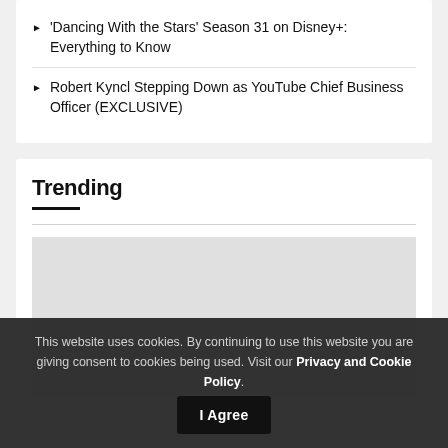'Dancing With the Stars' Season 31 on Disney+: Everything to Know
Robert Kyncl Stepping Down as YouTube Chief Business Officer (EXCLUSIVE)
Trending
[Figure (photo): Trending image placeholder — light grey rectangle]
This website uses cookies. By continuing to use this website you are giving consent to cookies being used. Visit our Privacy and Cookie Policy.